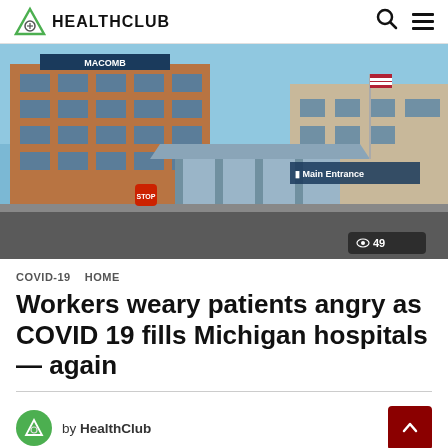HEALTHCLUB
[Figure (photo): Exterior photo of a hospital building with 'Macomb' signage and 'Main Entrance' visible, brick multi-story structure with canopy entryway, blue sky background. View count: 49.]
COVID-19  HOME
Workers weary patients angry as COVID 19 fills Michigan hospitals — again
by HealthClub